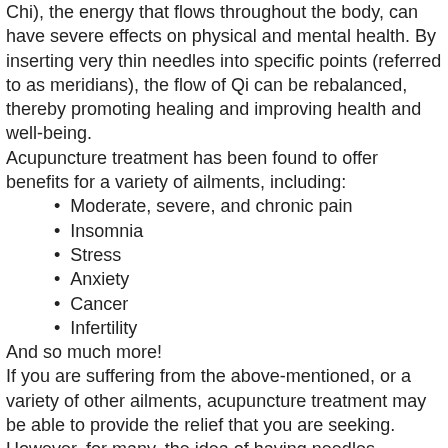Chi), the energy that flows throughout the body, can have severe effects on physical and mental health. By inserting very thin needles into specific points (referred to as meridians), the flow of Qi can be rebalanced, thereby promoting healing and improving health and well-being.
Acupuncture treatment has been found to offer benefits for a variety of ailments, including:
Moderate, severe, and chronic pain
Insomnia
Stress
Anxiety
Cancer
Infertility
And so much more!
If you are suffering from the above-mentioned, or a variety of other ailments, acupuncture treatment may be able to provide the relief that you are seeking. However, for many, the idea of having needles inserted throughout your body can be a bit nerve-racking. To help ease your worries and make your